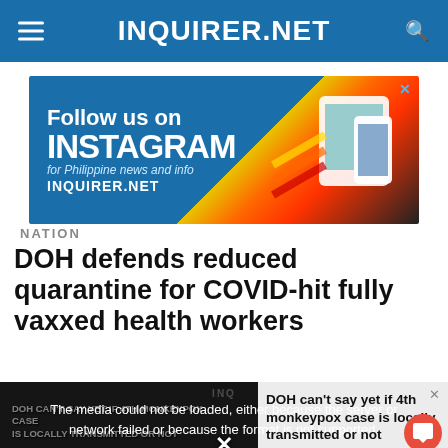INQUIRER.NET
[Figure (screenshot): Instagram follow us advertisement banner with colorful diagonal stripe design and device mockups]
NATION
DOH defends reduced quarantine for COVID-hit fully vaxxed health workers
[Figure (screenshot): Video player showing media error overlay: 'The media could not be loaded, either because the server or network failed or because the format is not supported.' with related story popup showing 'DOH can't say yet if 4th monkeypox case is locally transmitted or not']